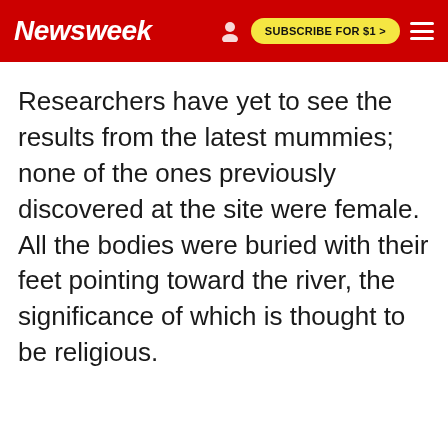Newsweek | SUBSCRIBE FOR $1 >
Researchers have yet to see the results from the latest mummies; none of the ones previously discovered at the site were female. All the bodies were buried with their feet pointing toward the river, the significance of which is thought to be religious.